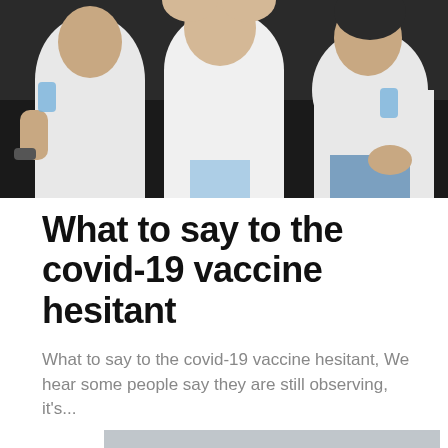[Figure (photo): Group of people sitting together, wearing white t-shirts, top portion of image]
What to say to the covid-19 vaccine hesitant
What to say to the covid-19 vaccine hesitant, We hear some people say they are still observing, it's...
[Figure (photo): Person in a medical or clinical setting, partial view, gray background]